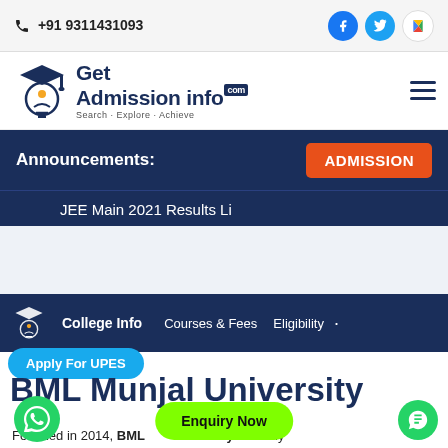+91 9311431093
[Figure (logo): Get Admission info .com logo with graduation cap and Search Explore Achieve tagline]
Announcements:
ADMISSION
JEE Main 2021 Results Li
College Info   Courses & Fees   Eligibility
Apply For UPES
BML Munjal University
Founded in 2014, BML Munjal University is a fully